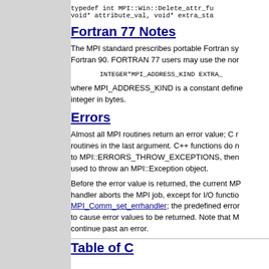typedef int MPI::Win::Delete_attr_fu
void* attribute_val, void* extra_sta
Fortran 77 Notes
The MPI standard prescribes portable Fortran sy
Fortran 90. FORTRAN 77 users may use the nor
INTEGER*MPI_ADDRESS_KIND EXTRA_
where MPI_ADDRESS_KIND is a constant define
integer in bytes.
Errors
Almost all MPI routines return an error value; C r
routines in the last argument. C++ functions do n
to MPI::ERRORS_THROW_EXCEPTIONS, the
used to throw an MPI::Exception object.
Before the error value is returned, the current MP
handler aborts the MPI job, except for I/O functio
MPI_Comm_set_errhandler; the predefined erro
to cause error values to be returned. Note that M
continue past an error.